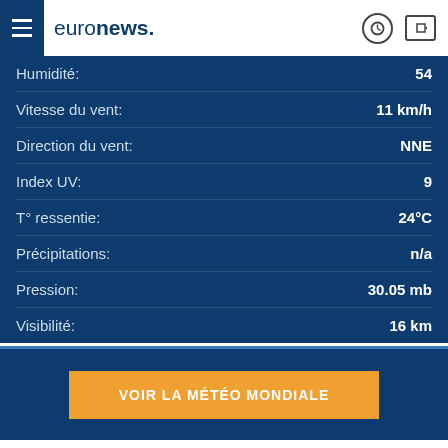euronews.
| Label | Value |
| --- | --- |
| Humidité: | 54 |
| Vitesse du vent: | 11 km/h |
| Direction du vent: | NNE |
| Index UV: | 9 |
| T° ressentie: | 24°C |
| Précipitations: | n/a |
| Pression: | 30.05 mb |
| Visibilité: | 16 km |
VOIR LA MÉTÉO MONDIALE
Plus d'actualité United States